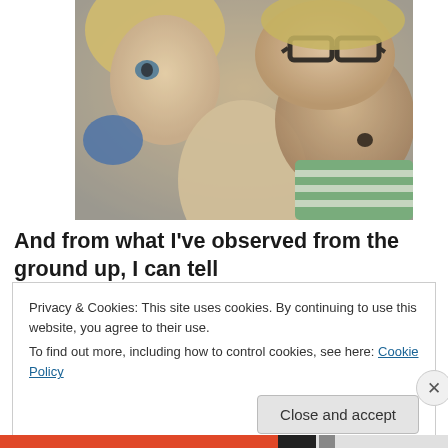[Figure (photo): A selfie-style photo showing an adult with glasses and two young children/babies. The adult wears thick-framed black glasses. One child is a toddler with blonde hair on the left, and an infant is on the right wearing a green striped outfit.]
And from what I've observed from the ground up, I can tell
Privacy & Cookies: This site uses cookies. By continuing to use this website, you agree to their use.
To find out more, including how to control cookies, see here: Cookie Policy
Close and accept